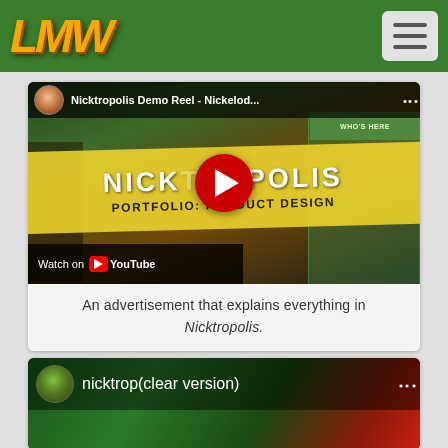[Figure (screenshot): LMW website logo - stylized gold italic letters on green header background]
[Figure (screenshot): Hamburger menu button (three horizontal bars) on white/gray rounded rectangle]
[Figure (screenshot): YouTube video embed showing Nicktropolis Demo Reel - Nickelodeon game advertisement with play button, Watch on YouTube overlay, and yellow diagonal band reading NICKTROPOLIS / PORTFOLIO: PRODUCT DESIGN]
An advertisement that explains everything in Nicktropolis.
[Figure (screenshot): Second YouTube video embed showing nicktrop(clear version) with green game character avatar and colorful Nicktropolis background]